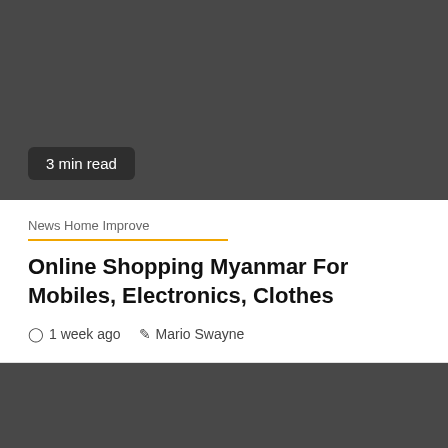[Figure (photo): Dark gray image block at top of article page with '3 min read' badge overlay]
3 min read
News Home Improve
Online Shopping Myanmar For Mobiles, Electronics, Clothes
1 week ago   Mario Swayne
[Figure (photo): Dark gray image block at bottom of page with a yellow scroll-to-top button in lower right corner]